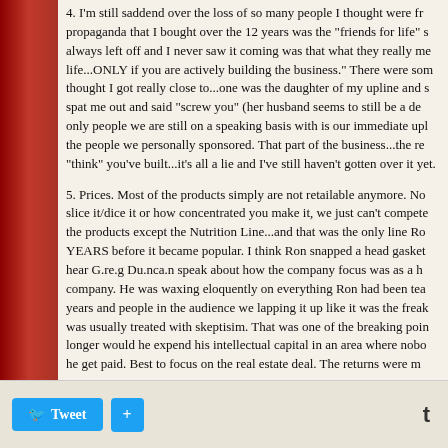4. I'm still saddend over the loss of so many people I thought were friends. The propaganda that I bought over the 12 years was the "friends for life" stuff. What was always left off and I never saw it coming was that what they really meant was...friends for life...ONLY if you are actively building the business. There were some people who I thought I got really close to...one was the daughter of my upline and she literally spat me out and said "screw you" (her husband seems to still be a devoted IBO). The only people we are still on a speaking basis with is our immediate upline Platinum and the people we personally sponsored. That part of the business...the relationships you "think" you've built...it's all a lie and I've still haven't gotten over it yet.
5. Prices. Most of the products simply are not retailable anymore. No matter how you slice it/dice it or how concentrated you make it, we just can't compete. Ron used to do the products except the Nutrition Line...and that was the only line Ron promoted for YEARS before it became popular. I think Ron snapped a head gasket when he got to hear G.re.g Du.nca.n speak about how the company focus was as a health/wellness company. He was waxing eloquently on everything Ron had been teaching for years and people in the audience we lapping it up like it was the freaking Gospel. Ron was usually treated with skeptisim. That was one of the breaking points for Ron. No longer would he expend his intellectual capital in an area where nobody cared nor would he get paid. Best to focus on the real estate deal. The returns were m
6. Just keep doing what your doing!!!!!!! That was my breaking point, a few months before Ron snapped. I just shut my mouth and ate a piece of humble pie. I wasn't going to kill my man's dream. If I heard that priceless BULLSHYAT quote one more time STOOOOPIT... keep doing... "IF YOU KEEP DOING WHAT Y
Tweet  +  t